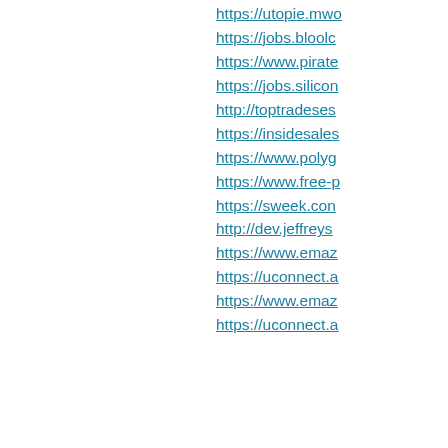https://utopie.mw...
https://jobs.blool...
https://www.pirate...
https://jobs.silico...
http://toptradeses...
https://insidesales...
https://www.polyg...
https://www.free-p...
https://sweek.con...
http://dev.jeffreys...
https://www.emaz...
https://uconnect.a...
https://www.emaz...
https://uconnect.a...
Přidat komentář: